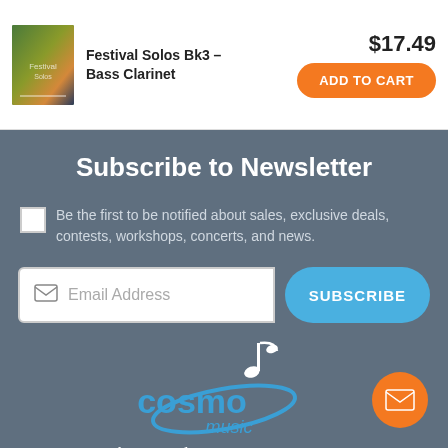[Figure (illustration): Product thumbnail for Festival Solos Bk3 - Bass Clarinet book cover]
Festival Solos Bk3 – Bass Clarinet
$17.49
ADD TO CART
Subscribe to Newsletter
Be the first to be notified about sales, exclusive deals, contests, workshops, concerts, and news.
Email Address
SUBSCRIBE
[Figure (logo): Cosmo Music logo with blue swirl and music note, text reads 'cosmo music']
The Musical Instrument Superstore!